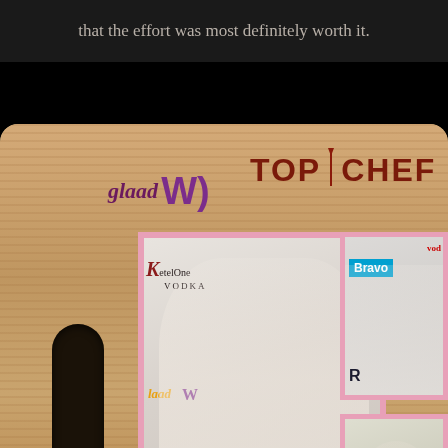that the effort was most definitely worth it.
[Figure (photo): A collage-style image showing a wooden cutting board with 'GLAAD' and 'TOP CHEF' logos. Three photos are mounted on the board: a large main photo of a woman in a floral white dress at an event with Ketel One Vodka and Miller Lite sponsors, a top-right photo of a woman and man posing in front of a Bravo banner, and a bottom-right photo of a smiling woman with Miller Lite logo visible.]